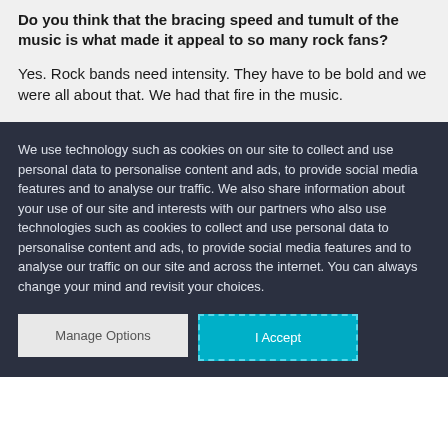Do you think that the bracing speed and tumult of the music is what made it appeal to so many rock fans?
Yes. Rock bands need intensity. They have to be bold and we were all about that. We had that fire in the music.
We use technology such as cookies on our site to collect and use personal data to personalise content and ads, to provide social media features and to analyse our traffic. We also share information about your use of our site and interests with our partners who also use technologies such as cookies to collect and use personal data to personalise content and ads, to provide social media features and to analyse our traffic on our site and across the internet. You can always change your mind and revisit your choices.
Manage Options
I Accept